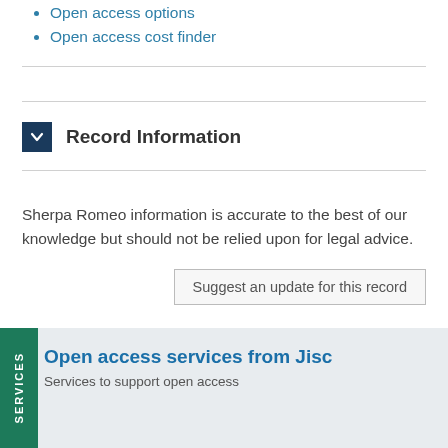Open access options
Open access cost finder
Record Information
Sherpa Romeo information is accurate to the best of our knowledge but should not be relied upon for legal advice.
Suggest an update for this record
Open access services from Jisc
Services to support open access